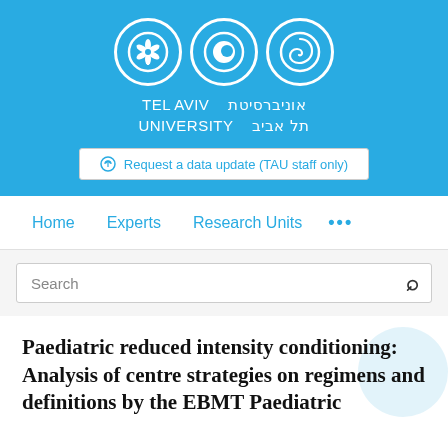[Figure (logo): Tel Aviv University logo banner with three circular icons and university name in English and Hebrew on a light blue background]
Request a data update (TAU staff only)
Home   Experts   Research Units   ...
Search
Paediatric reduced intensity conditioning: Analysis of centre strategies on regimens and definitions by the EBMT Paediatric